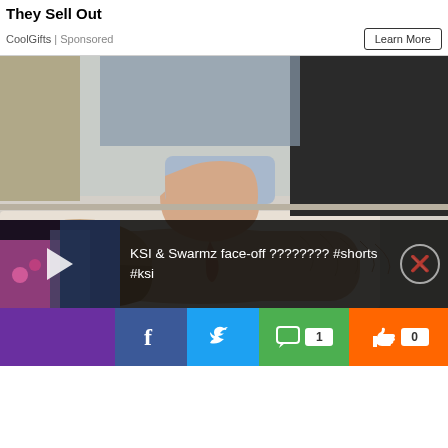They Sell Out
CoolGifts | Sponsored
[Figure (photo): A medical professional pressing a finger into a patient's ankle/lower leg area, demonstrating pitting edema test. Patient's leg resting on an exam table.]
[Figure (screenshot): Video overlay: KSI & Swarmz face-off ???????? #shorts #ksi with play button and close button]
[Figure (infographic): Social sharing bar with purple, Facebook (f), Twitter bird, comment icon with badge 1, thumbs up with badge 0, and orange section]